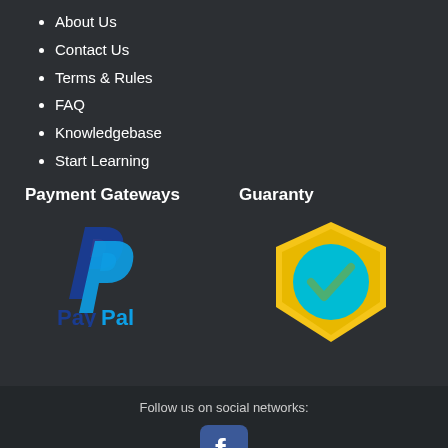About Us
Contact Us
Terms & Rules
FAQ
Knowledgebase
Start Learning
Payment Gateways
[Figure (logo): PayPal logo with dark blue and light blue letter P shapes and PayPal wordmark]
Guaranty
[Figure (illustration): Yellow hexagon shield with a cyan circle containing a green checkmark]
Follow us on social networks:
[Figure (logo): Facebook icon - blue square with white lowercase f]
Website Terms, Disclaimer and Policies